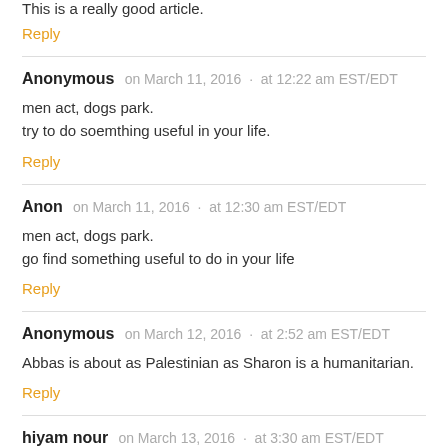This is a really good article.
Reply
Anonymous   on March 11, 2016  ·  at 12:22 am EST/EDT
men act, dogs park.
try to do soemthing useful in your life.
Reply
Anon   on March 11, 2016  ·  at 12:30 am EST/EDT
men act, dogs park.
go find something useful to do in your life
Reply
Anonymous   on March 12, 2016  ·  at 2:52 am EST/EDT
Abbas is about as Palestinian as Sharon is a humanitarian.
Reply
hiyam nour   on March 13, 2016  ·  at 3:30 am EST/EDT